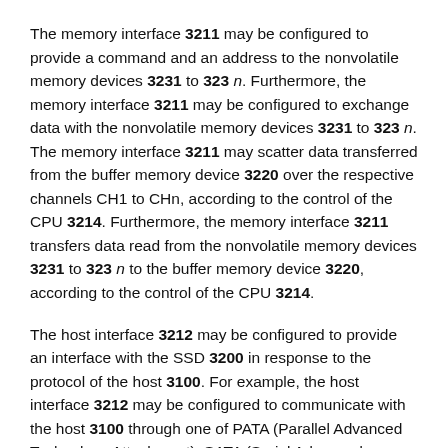The memory interface 3211 may be configured to provide a command and an address to the nonvolatile memory devices 3231 to 323 n. Furthermore, the memory interface 3211 may be configured to exchange data with the nonvolatile memory devices 3231 to 323 n. The memory interface 3211 may scatter data transferred from the buffer memory device 3220 over the respective channels CH1 to CHn, according to the control of the CPU 3214. Furthermore, the memory interface 3211 transfers data read from the nonvolatile memory devices 3231 to 323 n to the buffer memory device 3220, according to the control of the CPU 3214.
The host interface 3212 may be configured to provide an interface with the SSD 3200 in response to the protocol of the host 3100. For example, the host interface 3212 may be configured to communicate with the host 3100 through one of PATA (Parallel Advanced Technology Attachment), SATA (Serial Advanced Technology Attachment), SCSI (Small Computer System Interface), SAS (Serial SCSI) protocols. Furthermore, the host interface 3212 may perform a disk emulation function of supporting the host 3100 accessing the SSD 3200, and is disclosed in...